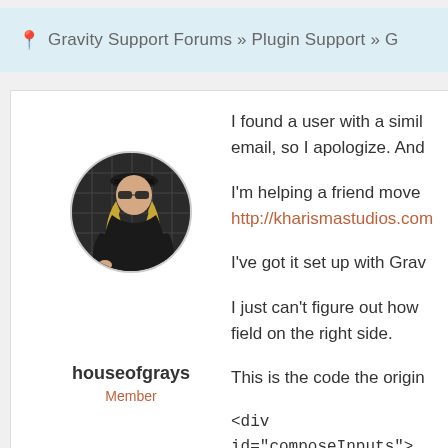Gravity Support Forums » Plugin Support » G
[Figure (photo): Round profile photo of a woman with long blonde hair wearing sunglasses and a black top, against a dark grid background]
houseofgrays
Member
I found a user with a simil email, so I apologize. And
I'm helping a friend move http://kharismastudios.com
I've got it set up with Grav
I just can't figure out how field on the right side.
This is the code the origin
<div id="composeInputs">